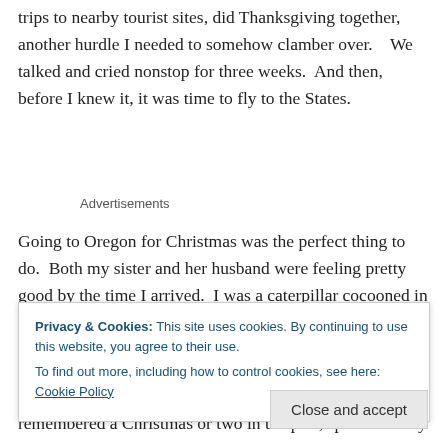trips to nearby tourist sites, did Thanksgiving together, another hurdle I needed to somehow clamber over.    We talked and cried nonstop for three weeks.  And then, before I knew it, it was time to fly to the States.
Advertisements
Going to Oregon for Christmas was the perfect thing to do.  Both my sister and her husband were feeling pretty good by the time I arrived.  I was a caterpillar cocooned in
Privacy & Cookies: This site uses cookies. By continuing to use this website, you agree to their use.
To find out more, including how to control cookies, see here: Cookie Policy
Close and accept
remembered a Christmas or two in the past, spent with my